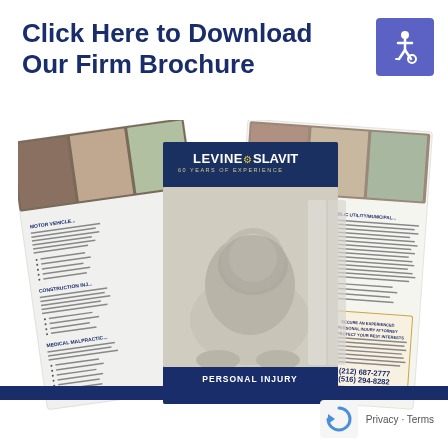Click Here to Download Our Firm Brochure
[Figure (illustration): Law firm brochure showing LEVINE & SLAVIT 60 YEARS OF EXPERIENCE with a lion statue image, personal injury attorney information panels, phone numbers (212) 687-2777 and (516) 294-8282, and the text PERSONAL INJURY ATTORNEYS at the bottom]
[Figure (logo): Wheelchair accessibility icon - white wheelchair symbol on blue/purple square background]
Privacy · Terms